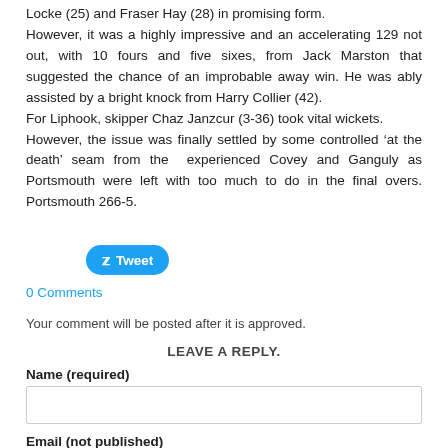Locke (25) and Fraser Hay (28) in promising form. However, it was a highly impressive and an accelerating 129 not out, with 10 fours and five sixes, from Jack Marston that suggested the chance of an improbable away win. He was ably assisted by a bright knock from Harry Collier (42). For Liphook, skipper Chaz Janzcur (3-36) took vital wickets. However, the issue was finally settled by some controlled ‘at the death’ seam from the experienced Covey and Ganguly as Portsmouth were left with too much to do in the final overs. Portsmouth 266-5.
Tweet
0 Comments
Your comment will be posted after it is approved.
LEAVE A REPLY.
Name (required)
Email (not published)